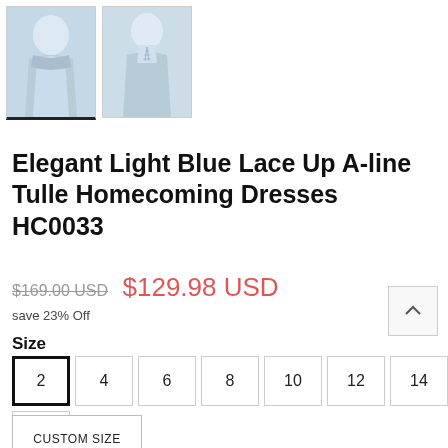[Figure (photo): Two thumbnail photos of a light blue tulle homecoming dress — front view (selected, with underline indicator) and back view showing lace-up detail]
Elegant Light Blue Lace Up A-line Tulle Homecoming Dresses HC0033
$169.00 USD  $129.98 USD
save 23% Off
Size
2  4  6  8  10  12  14  16
CUSTOM SIZE